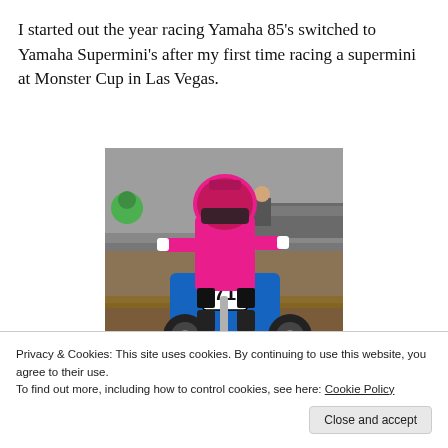I started out the year racing Yamaha 85's switched to Yamaha Supermini's after my first time racing a supermini at Monster Cup in Las Vegas.
[Figure (photo): A motocross rider wearing pink and black gear with helmet, riding a blue Yamaha dirt bike with number 71, at a racing event. Background shows a concrete barrier and spectators.]
Privacy & Cookies: This site uses cookies. By continuing to use this website, you agree to their use.
To find out more, including how to control cookies, see here: Cookie Policy